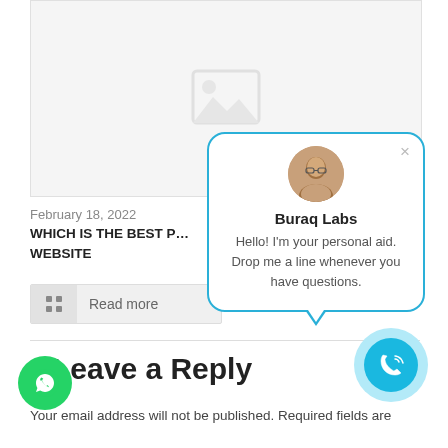[Figure (other): Image placeholder with mountain/photo icon]
February 18, 2022
WHICH IS THE BEST P… WEBSITE
Read more
[Figure (other): Chat popup widget from Buraq Labs with avatar, name, and message: Hello! I'm your personal aid. Drop me a line whenever you have questions.]
Leave a Reply
Your email address will not be published. Required fields are
[Figure (other): Phone call button (blue circle)]
[Figure (other): WhatsApp button (green circle)]